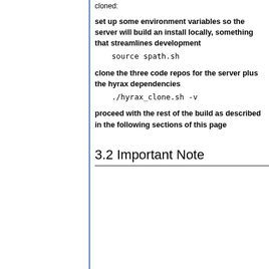cloned:
set up some environment variables so the server will build an install locally, something that streamlines development
source spath.sh
clone the three code repos for the server plus the hyrax dependencies
./hyrax_clone.sh -v
proceed with the rest of the build as described in the following sections of this page
3.2 Important Note